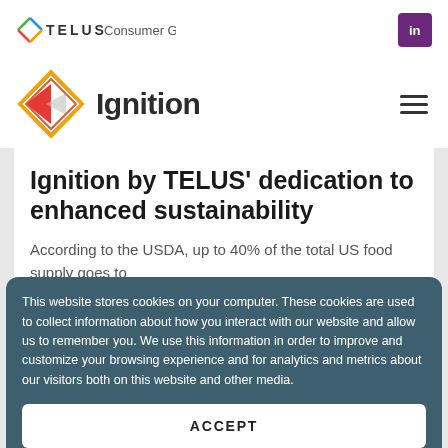TELUS Consumer Goods
[Figure (logo): Ignition by TELUS logo with diamond/arrow icon and Ignition text]
Ignition by TELUS' dedication to enhanced sustainability
According to the USDA, up to 40% of the total US food supply goes to
This website stores cookies on your computer. These cookies are used to collect information about how you interact with our website and allow us to remember you. We use this information in order to improve and customize your browsing experience and for analytics and metrics about our visitors both on this website and other media.
ACCEPT
presenting a comprehensive suite of solutions designed to help distributors